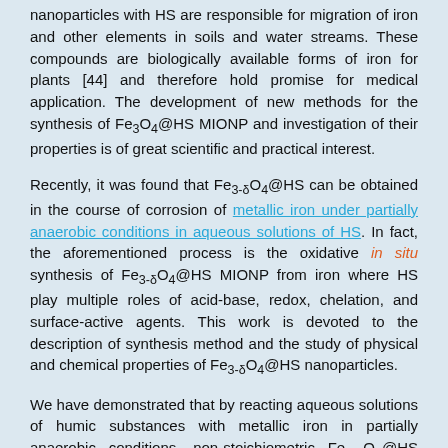nanoparticles with HS are responsible for migration of iron and other elements in soils and water streams. These compounds are biologically available forms of iron for plants [44] and therefore hold promise for medical application. The development of new methods for the synthesis of Fe3O4@HS MIONP and investigation of their properties is of great scientific and practical interest.
Recently, it was found that Fe3-δO4@HS can be obtained in the course of corrosion of metallic iron under partially anaerobic conditions in aqueous solutions of HS. In fact, the aforementioned process is the oxidative in situ synthesis of Fe3-δO4@HS MIONP from iron where HS play multiple roles of acid-base, redox, chelation, and surface-active agents. This work is devoted to the description of synthesis method and the study of physical and chemical properties of Fe3-δO4@HS nanoparticles.
We have demonstrated that by reacting aqueous solutions of humic substances with metallic iron in partially anaerobic conditions, non-stoichiometric Fe3-δO4@HS nanoparticles can be prepared by oxidative in situ synthesis. In this study, two types of Fe3-δO4@HS MIONP have been synthesized and isolated. The products contain particles with the sizes in the